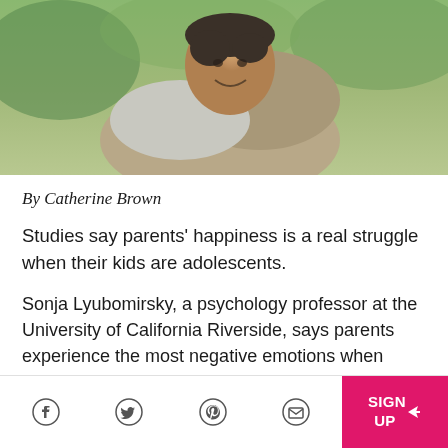[Figure (photo): A smiling man giving a piggyback ride outdoors in a garden setting]
By Catherine Brown
Studies say parents' happiness is a real struggle when their kids are adolescents.
Sonja Lyubomirsky, a psychology professor at the University of California Riverside, says parents experience the most negative emotions when children are under five and when they become...